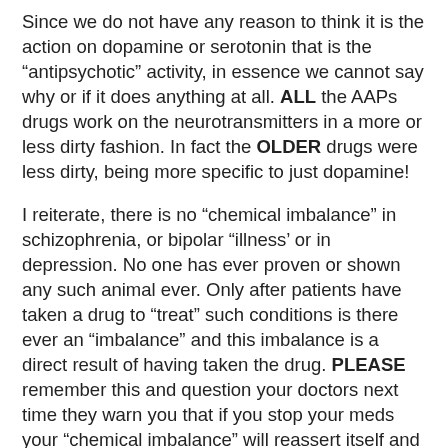Since we do not have any reason to think it is the action on dopamine or serotonin that is the “antipsychotic” activity, in essence we cannot say why or if it does anything at all. ALL the AAPs drugs work on the neurotransmitters in a more or less dirty fashion. In fact the OLDER drugs were less dirty, being more specific to just dopamine!
I reiterate, there is no “chemical imbalance” in schizophrenia, or bipolar “illness’ or in depression. No one has ever proven or shown any such animal ever. Only after patients have taken a drug to “treat” such conditions is there ever an “imbalance” and this imbalance is a direct result of having taken the drug. PLEASE remember this and question your doctors next time they warn you that if you stop your meds your “chemical imbalance” will reassert itself and make you sick again. Ask, “What chemical imbalance and where did it come from? What chemicals and what is the normal level I should have?” I know I know, the doctor will say, dopamine, if you “have” schizophrenia, or “serotonin” if you “have” depression. Lord